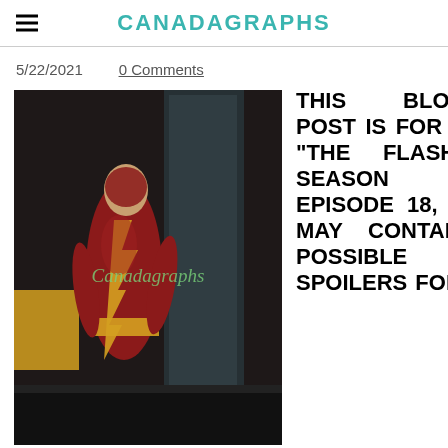CANADAGRAPHS
5/22/2021   0 Comments
[Figure (photo): A person in The Flash superhero costume (red suit with gold lightning bolt details) standing in an indoor setting. The Canadagraphs watermark is overlaid on the image.]
THIS BLOG POST IS FOR A "THE FLASH" SEASON 7 EPISODE 18, & MAY CONTAIN POSSIBLE SPOILERS FOR